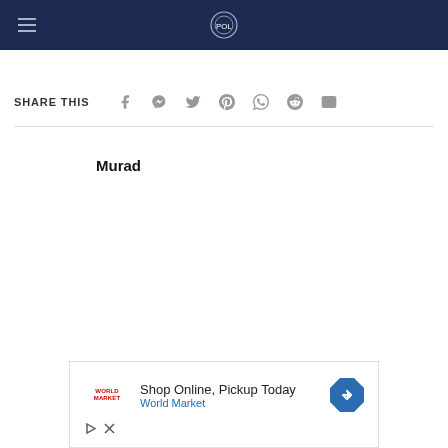Navigation header with hamburger menu and site logo
SHARE THIS
[Figure (infographic): Social share icons: Facebook, Messenger, Twitter, Pinterest, WhatsApp, Reddit, Email]
Murad
[Figure (infographic): Advertisement: Shop Online, Pickup Today - World Market, with navigation arrow icon]